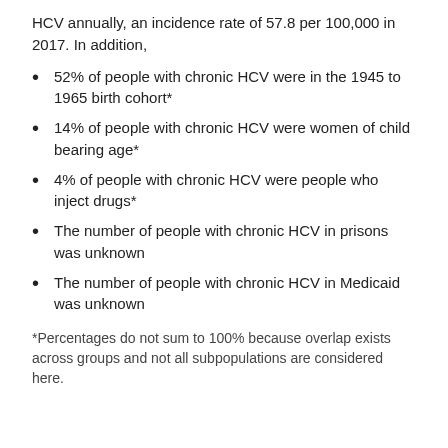HCV annually, an incidence rate of 57.8 per 100,000 in 2017. In addition,
52% of people with chronic HCV were in the 1945 to 1965 birth cohort*
14% of people with chronic HCV were women of child bearing age*
4% of people with chronic HCV were people who inject drugs*
The number of people with chronic HCV in prisons was unknown
The number of people with chronic HCV in Medicaid was unknown
*Percentages do not sum to 100% because overlap exists across groups and not all subpopulations are considered here.